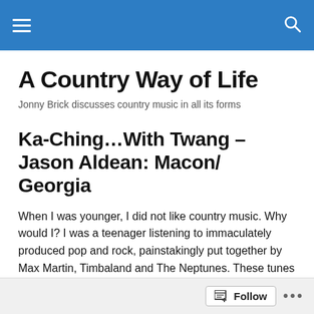A Country Way of Life
A Country Way of Life
Jonny Brick discusses country music in all its forms
Ka-Ching…With Twang – Jason Aldean: Macon/ Georgia
When I was younger, I did not like country music. Why would I? I was a teenager listening to immaculately produced pop and rock, painstakingly put together by Max Martin, Timbaland and The Neptunes. These tunes were sonically and rhythmically interesting and so, whenever I
Follow